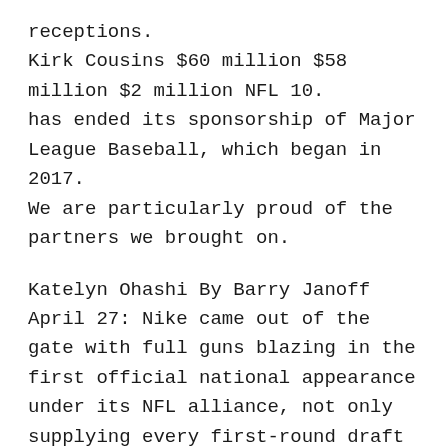receptions.
Kirk Cousins $60 million $58 million $2 million NFL 10.
has ended its sponsorship of Major League Baseball, which began in 2017.
We are particularly proud of the partners we brought on.
Katelyn Ohashi By Barry Janoff April 27: Nike came out of the gate with full guns blazing in the first official national appearance under its NFL alliance, not only supplying every first-round draft pick with a new team jersey featuring their name on the back, but unleashing a TV spot that makes it clear the company is the new marshal in town.